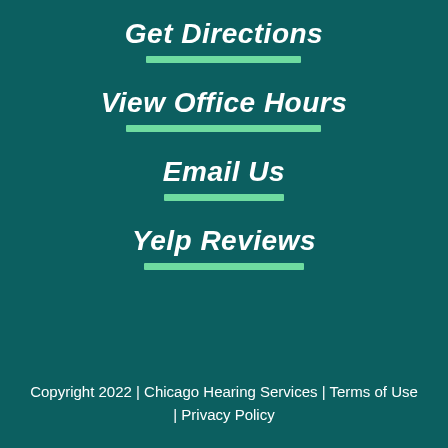Get Directions
View Office Hours
Email Us
Yelp Reviews
Copyright 2022 | Chicago Hearing Services | Terms of Use | Privacy Policy